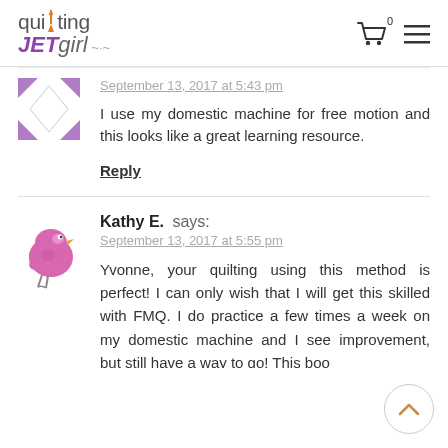[Figure (logo): Quilting Jet Girl website logo with needle and thread illustration, purple and orange text]
September 13, 2017 at 5:43 pm
I use my domestic machine for free motion and this looks like a great learning resource.
Reply
Kathy E. says:
September 13, 2017 at 5:55 pm
Yvonne, your quilting using this method is perfect! I can only wish that I will get this skilled with FMQ. I do practice a few times a week on my domestic machine and I see improvement, but still have a way to go! This boo...